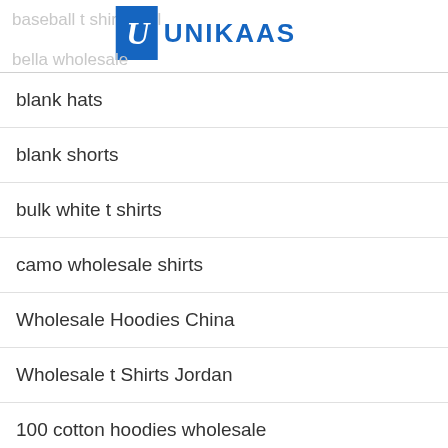baseball t shirt wholesale | UNIKAAS | bella wholesale
blank hats
blank shorts
bulk white t shirts
camo wholesale shirts
Wholesale Hoodies China
Wholesale t Shirts Jordan
100 cotton hoodies wholesale
readymade suits wholesale
Hi, how can I help?